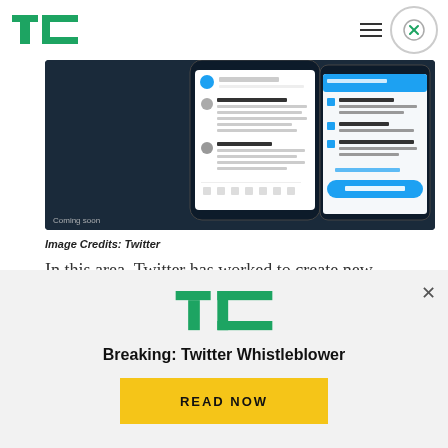TechCrunch
[Figure (screenshot): Screenshot of Twitter mobile app showing tweet threads and a sidebar panel with features including 'Remember the terms' and a blue 'Get started' button. Text says 'Coming soon' in bottom left.]
Image Credits: Twitter
In this area, Twitter has worked to create new
[Figure (infographic): TechCrunch modal overlay with green TC logo, headline 'Breaking: Twitter Whistleblower', and a yellow 'READ NOW' button.]